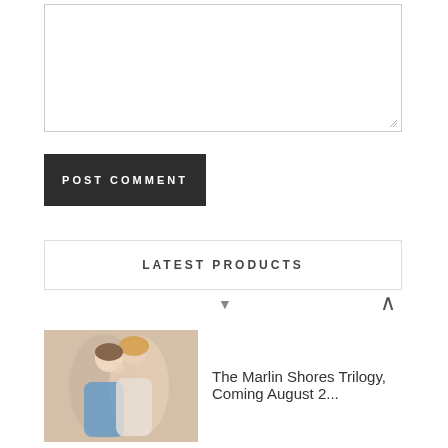[Figure (other): Empty text area input box with resize handle at bottom right]
POST COMMENT
LATEST PRODUCTS
[Figure (photo): Thumbnail photo of a couple embracing, man and woman, romantic pose]
The Marlin Shores Trilogy, Coming August 2...